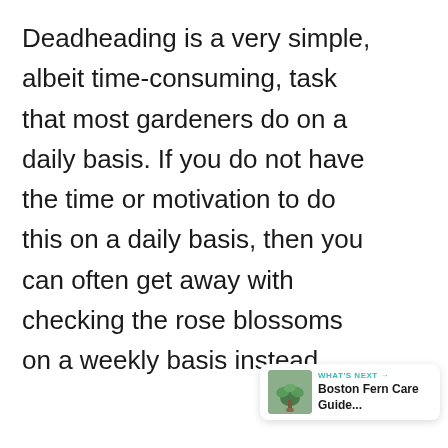Deadheading is a very simple, albeit time-consuming, task that most gardeners do on a daily basis. If you do not have the time or motivation to do this on a daily basis, then you can often get away with checking the rose blossoms on a weekly basis instead.
[Figure (infographic): Like/heart button (teal circle with heart icon), like count showing 25, and share button (light circle with share icon)]
[Figure (infographic): What's Next card showing a Boston Fern plant image with text 'WHAT'S NEXT → Boston Fern Care Guide...']